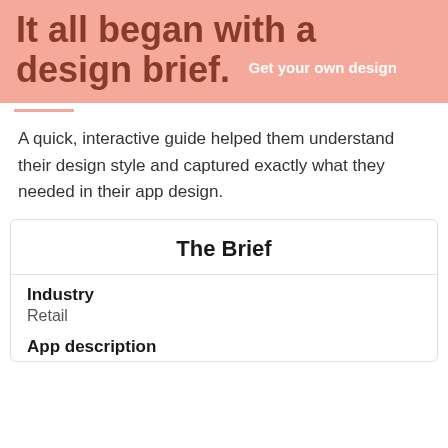It all began with a design brief. Get your own design
A quick, interactive guide helped them understand their design style and captured exactly what they needed in their app design.
The Brief
Industry
Retail
App description